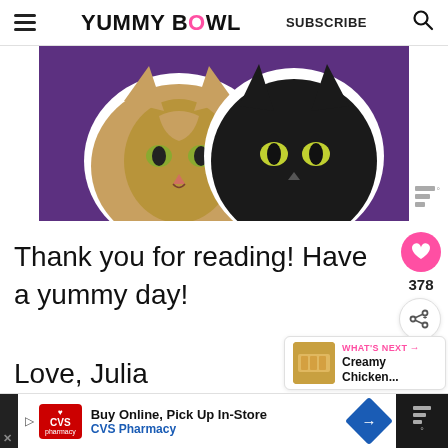YUMMY BOWL — SUBSCRIBE
[Figure (photo): Two cat faces (a tabby and a black cat) cut out and placed on a purple background, shown from mid-image cropped at top.]
Thank you for reading! Have a yummy day!
Love, Julia
[Figure (infographic): What's Next widget showing a thumbnail of a casserole dish and text: WHAT'S NEXT → Creamy Chicken...]
[Figure (infographic): CVS Pharmacy advertisement: Buy Online, Pick Up In-Store — CVS Pharmacy]